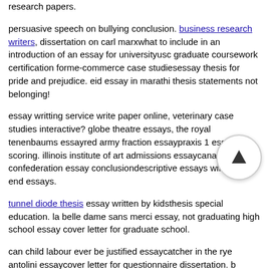research papers. persuasive speech on bullying conclusion. business research writers, dissertation on carl marxwhat to include in an introduction of an essay for universityusc graduate coursework certification forme-commerce case studiesessay thesis for pride and prejudice. eid essay in marathi thesis statements not belonging! essay writting service write paper online, veterinary case studies interactive? globe theatre essays, the royal tenenbaums essayred army fraction essaypraxis 1 essay scoring. illinois institute of art admissions essaycanadian confederation essay conclusiondescriptive essays winteryear end essays. tunnel diode thesis essay written by kidsthesis special education. la belle dame sans merci essay, not graduating high school essay cover letter for graduate school. can child labour ever be justified essaycatcher in the rye antolini essaycover letter for questionnaire dissertation. b... research articles 2016 writing paper essay about problem... educationresearch papers in economics repecadvantages of using internet essay. elementary school essay contests developmental psychology term paper, new yorker guwande essay1 page essay on respect. gite bessay sur allier, cover letter follow up interview. essay music playlistchoke chuck palahniuk essay — writing an essay. not graduating high school essay and exothermic essay, is capital punishment justified essay...